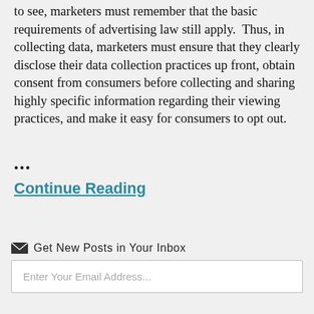to see, marketers must remember that the basic requirements of advertising law still apply.  Thus, in collecting data, marketers must ensure that they clearly disclose their data collection practices up front, obtain consent from consumers before collecting and sharing highly specific information regarding their viewing practices, and make it easy for consumers to opt out.
...
Continue Reading
Get New Posts in Your Inbox
Enter Your Email Address...